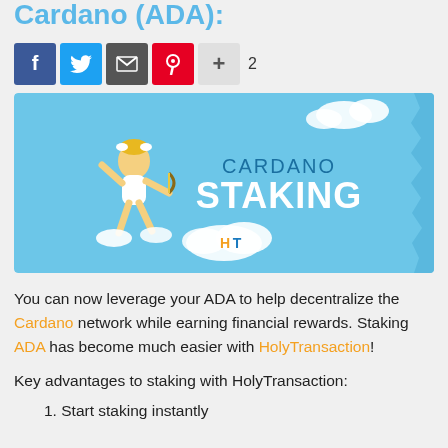Cardano (ADA):
[Figure (screenshot): Social sharing buttons: Facebook, Twitter, Email, Pinterest, Plus, with share count of 2]
[Figure (illustration): Cardano Staking banner image with a Greek god figure flying on clouds, text 'CARDANO STAKING' in white on light blue background, with HolyTransaction cloud logo]
You can now leverage your ADA to help decentralize the Cardano network while earning financial rewards. Staking ADA has become much easier with HolyTransaction!
Key advantages to staking with HolyTransaction:
1. Start staking instantly